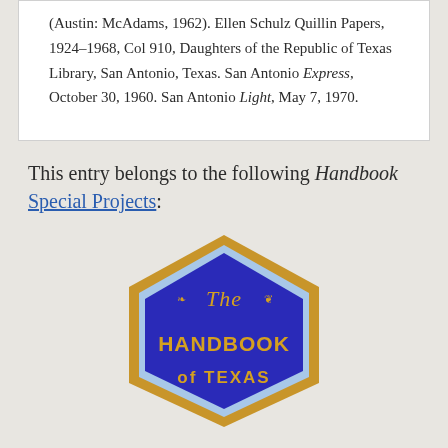(Austin: McAdams, 1962). Ellen Schulz Quillin Papers, 1924–1968, Col 910, Daughters of the Republic of Texas Library, San Antonio, Texas. San Antonio Express, October 30, 1960. San Antonio Light, May 7, 1970.
This entry belongs to the following Handbook Special Projects:
[Figure (logo): Hexagonal badge logo for The Handbook of Texas, with a gold outer border, blue background, and gold italic script text reading 'The HANDBOOK of TEXAS']